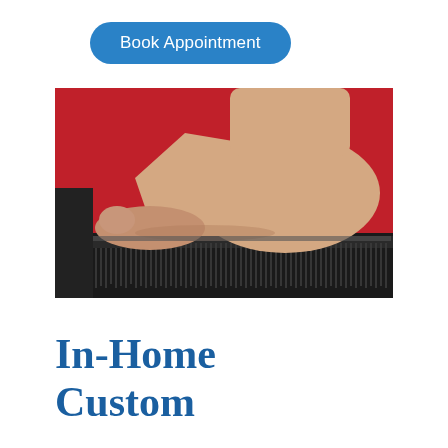Book Appointment
[Figure (photo): A bare human foot stepping onto a pin-matrix foot measuring device with black frame, against a red background. The device has a grid of pins that conform to the foot shape for custom orthotic measurement.]
In-Home Custom